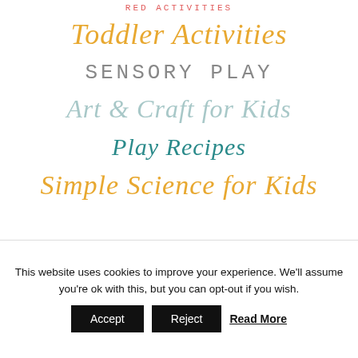RED ACTIVITIES
Toddler Activities
SENSORY PLAY
Art & Craft for Kids
Play Recipes
Simple Science for Kids
This website uses cookies to improve your experience. We'll assume you're ok with this, but you can opt-out if you wish.
Accept | Reject | Read More